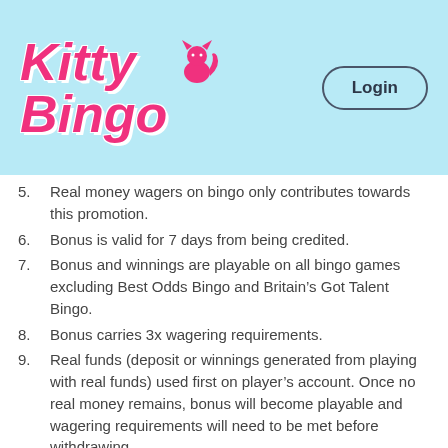[Figure (logo): Kitty Bingo logo in pink italic bold text with a cat silhouette icon, on a light blue background. A Login button with rounded border is shown in the top right.]
5. Real money wagers on bingo only contributes towards this promotion.
6. Bonus is valid for 7 days from being credited.
7. Bonus and winnings are playable on all bingo games excluding Best Odds Bingo and Britain’s Got Talent Bingo.
8. Bonus carries 3x wagering requirements.
9. Real funds (deposit or winnings generated from playing with real funds) used first on player’s account. Once no real money remains, bonus will become playable and wagering requirements will need to be met before withdrawing.
10. Players are able to place bets consisting of real and bonus money. Wins from such a bet are paid out